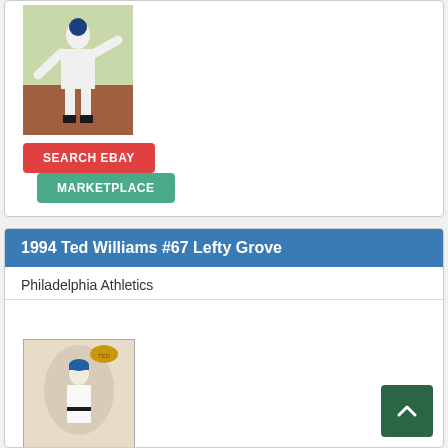[Figure (photo): Baseball player pitching, action photo on a baseball card]
SEARCH EBAY
MARKETPLACE
1994 Ted Williams #67 Lefty Grove
Philadelphia Athletics
[Figure (photo): Lefty Grove baseball card showing player in white uniform standing, 1994 Ted Williams card set]